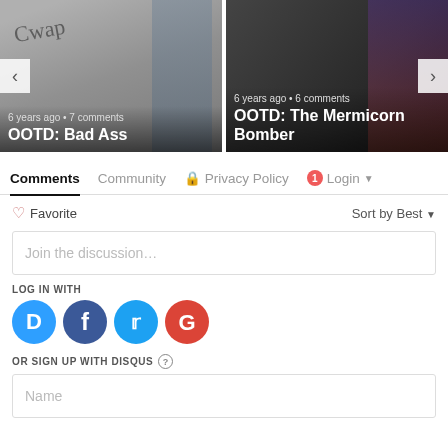[Figure (screenshot): Two image cards side by side; left card shows graffiti wall with text 'OOTD: Bad Ass' and '6 years ago • 7 comments'; right card shows people in front of graffiti with text 'OOTD: The Mermicorn Bomber']
6 years ago • 7 comments
OOTD: Bad Ass
OOTD: The Mermicorn Bomber
Comments  Community  🔒 Privacy Policy  1 Login ▾
♡ Favorite
Sort by Best ▾
Join the discussion…
LOG IN WITH
[Figure (logo): Disqus, Facebook, Twitter, Google social login icons]
OR SIGN UP WITH DISQUS ?
Name